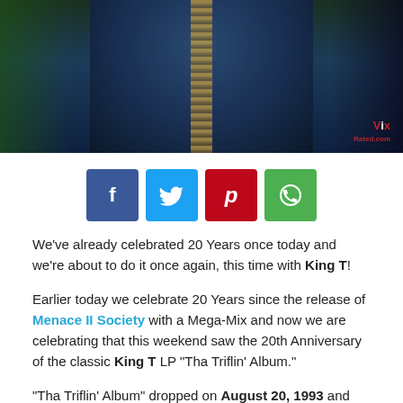[Figure (photo): A person wearing a blue outfit with a decorative chain/necklace, photographed from chest up. Dark atmospheric background with green lighting on the left. A red watermark logo is visible in the bottom right of the image.]
[Figure (infographic): Social sharing buttons in a row: Facebook (dark blue, f), Twitter (light blue, bird), Pinterest (red, p), WhatsApp (green, phone/chat icon)]
We've already celebrated 20 Years once today and we're about to do it once again, this time with King T!
Earlier today we celebrate 20 Years since the release of Menace II Society with a Mega-Mix and now we are celebrating that this weekend saw the 20th Anniversary of the classic King T LP “Tha Triflin’ Album.”
“Tha Triflin’ Album” dropped on August 20, 1993 and was the